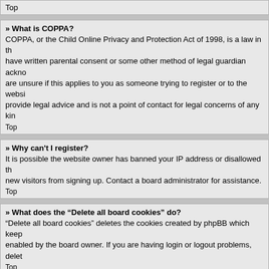Top
» What is COPPA?
COPPA, or the Child Online Privacy and Protection Act of 1998, is a law in the United States requiring websites which can potentially collect information from minors under the age of 13 to have written parental consent or some other method of legal guardian acknowledgment, allowing the collection of personally identifiable information from a minor under the age of 13. If you are unsure if this applies to you as someone trying to register or to the website you are trying to register on, contact legal counsel for assistance. Please note that phpBB Limited and the owners of this board cannot provide legal advice and is not a point of contact for legal concerns of any kind, except as outlined in question "Who do I contact about abusive and/or legal matters related to this board?"
Top
» Why can't I register?
It is possible the website owner has banned your IP address or disallowed the username you are attempting to register. The website owner could have also disabled registration to prevent new visitors from signing up. Contact a board administrator for assistance.
Top
» What does the “Delete all board cookies” do?
“Delete all board cookies” deletes the cookies created by phpBB which keep you authenticated and logged into the board. Cookies also provide functions such as read tracking if they have been enabled by the board owner. If you are having login or logout problems, deleting board cookies may help.
Top
» How do I change my settings?
If you are a registered user, all your settings are stored in the board database. To alter them, visit your User Control Panel; a link can usually be found by clicking on your username at the top of board pages. This system will allow you to change all your settings and preferences.
Top